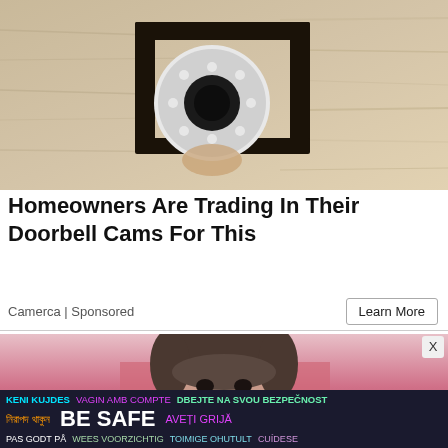[Figure (photo): Security camera with LED ring mounted on a textured beige/tan wall with a black mounting bracket]
Homeowners Are Trading In Their Doorbell Cams For This
Camerca | Sponsored
Learn More
[Figure (photo): Young woman with brown hair in an updo and bangs, smiling slightly, against a pink background]
[Figure (infographic): Be Safe multilingual safety banner with text in multiple languages including English, Bengali, Albanian, Catalan, Czech, Romanian, Norwegian, Dutch, Estonian, and Spanish]